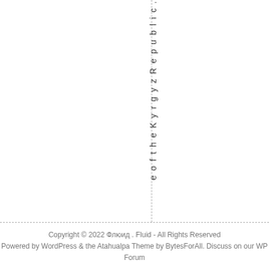[Figure (other): Vertical text reading 'e o f t h e K y r g y z R e p u b l i c .' displayed top-to-bottom with dashed vertical and horizontal lines forming a cross/border layout]
Copyright © 2022 Флюид . Fluid - All Rights Reserved
Powered by WordPress & the Atahualpa Theme by BytesForAll. Discuss on our WP Forum